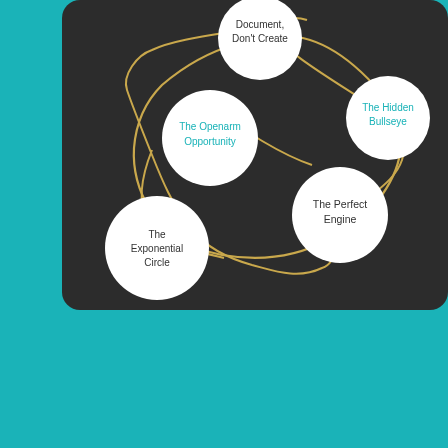[Figure (flowchart): A network/flowchart diagram on a dark background showing five circular nodes connected by a gold curved line. Nodes: 'Document, Don't Create' (top center, white), 'The Hidden Bullseye' (top right, white with teal text), 'The Openarm Opportunity' (middle left, white with teal text), 'The Perfect Engine' (middle right, white), 'The Exponential Circle' (bottom left, white). The nodes are connected by a flowing gold/yellow curved line.]